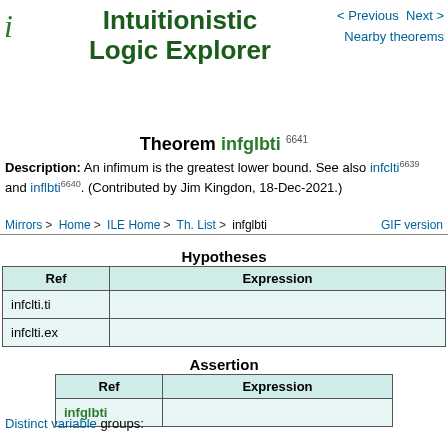Intuitionistic Logic Explorer
Theorem infglbti 6641
Description: An infimum is the greatest lower bound. See also infclti 6639 and inflbti 6640. (Contributed by Jim Kingdon, 18-Dec-2021.)
Hypotheses
| Ref | Expression |
| --- | --- |
| infclti.ti |  |
| infclti.ex |  |
Assertion
| Ref | Expression |
| --- | --- |
| infglbti |  |
Distinct variable groups:
Allowed substitution hints:
Proof of Theorem infglbti